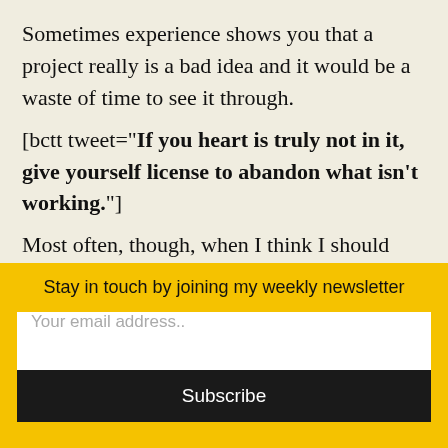Sometimes experience shows you that a project really is a bad idea and it would be a waste of time to see it through.
[bctt tweet="If you heart is truly not in it, give yourself license to abandon what isn't working."]
Most often, though, when I think I should abandon a project and I check in with myself, the truth is that I want to finish it. But it has
Stay in touch by joining my weekly newsletter
Your email address..
Subscribe